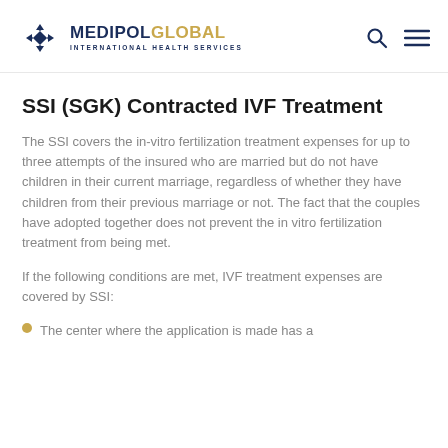MEDIPOL GLOBAL INTERNATIONAL HEALTH SERVICES
SSI (SGK) Contracted IVF Treatment
The SSI covers the in-vitro fertilization treatment expenses for up to three attempts of the insured who are married but do not have children in their current marriage, regardless of whether they have children from their previous marriage or not. The fact that the couples have adopted together does not prevent the in vitro fertilization treatment from being met.
If the following conditions are met, IVF treatment expenses are covered by SSI:
The center where the application is made has a